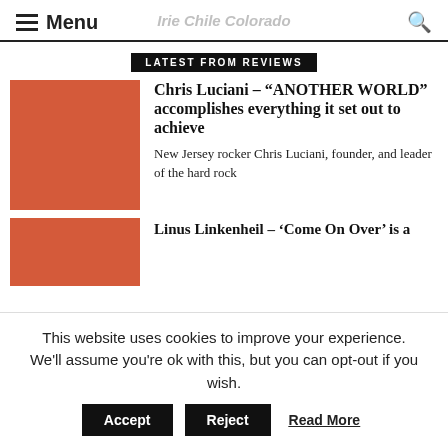Menu | Irie Chile Colorado
LATEST FROM REVIEWS
Chris Luciani – “ANOTHER WORLD” accomplishes everything it set out to achieve
New Jersey rocker Chris Luciani, founder, and leader of the hard rock
Linus Linkenheil – ‘Come On Over’ is a
This website uses cookies to improve your experience. We'll assume you're ok with this, but you can opt-out if you wish. Accept Reject Read More